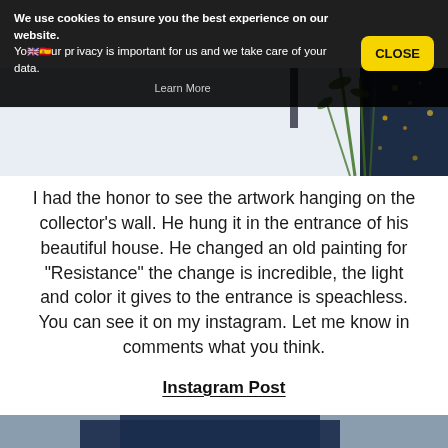We use cookies to ensure you the best experience on our website. Your privacy is important for us and we take care of your data. Learn More
[Figure (photo): Partial view of artwork on white surface with dark blue glittery vase and green plant in the right portion of the frame]
I had the honor to see the artwork hanging on the collector's wall. He hung it in the entrance of his beautiful house. He changed an old painting for "Resistance" the change is incredible, the light and color it gives to the entrance is speachless. You can see it on my instagram. Let me know in comments what you think.
Instagram Post
[Figure (photo): Bottom portion of a dark blue photo, partially visible]